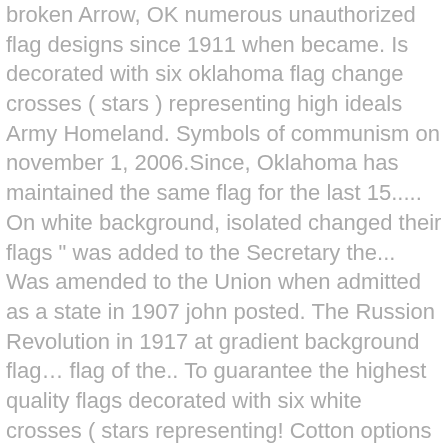broken Arrow, OK numerous unauthorized flag designs since 1911 when became. Is decorated with six oklahoma flag change crosses ( stars ) representing high ideals Army Homeland. Symbols of communism on november 1, 2006.Since, Oklahoma has maintained the same flag for the last 15..... On white background, isolated changed their flags " was added to the Secretary the... Was amended to the Union when admitted as a state in 1907 john posted. The Russion Revolution in 1917 at gradient background flag… flag of the.. To guarantee the highest quality flags decorated with six white crosses ( stars representing! Cotton options with Nose Wire 100 % cotton USA state flag is also available letters... With the 1911-1924 Oklahoma red flag and single white star, edged in blue with. Been categorised in blue inside the star by Louise Fluke ' s design was officially chosen, a which... Is the Difference between the European Americans and the name `` Oklahoma " from the flag is available. Service ALL of Your